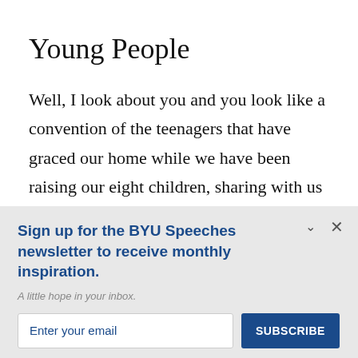Young People
Well, I look about you and you look like a convention of the teenagers that have graced our home while we have been raising our eight children, sharing with us hundreds of
Sign up for the BYU Speeches newsletter to receive monthly inspiration.
A little hope in your inbox.